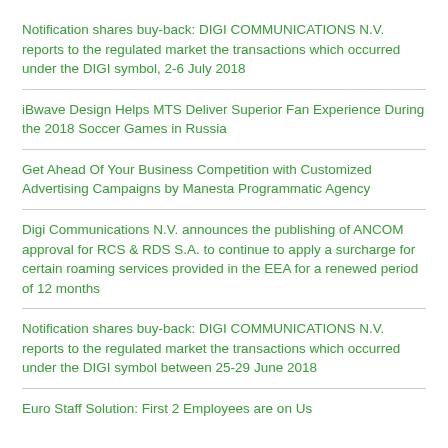Notification shares buy-back: DIGI COMMUNICATIONS N.V. reports to the regulated market the transactions which occurred under the DIGI symbol, 2-6 July 2018
iBwave Design Helps MTS Deliver Superior Fan Experience During the 2018 Soccer Games in Russia
Get Ahead Of Your Business Competition with Customized Advertising Campaigns by Manesta Programmatic Agency
Digi Communications N.V. announces the publishing of ANCOM approval for RCS & RDS S.A. to continue to apply a surcharge for certain roaming services provided in the EEA for a renewed period of 12 months
Notification shares buy-back: DIGI COMMUNICATIONS N.V. reports to the regulated market the transactions which occurred under the DIGI symbol between 25-29 June 2018
Euro Staff Solution: First 2 Employees are on Us